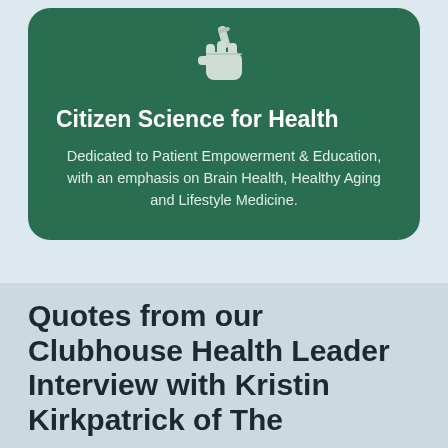[Figure (logo): A fist holding a test tube or thermometer icon, white on green background]
Citizen Science for Health
Dedicated to Patient Empowerment & Education, with an emphasis on Brain Health, Healthy Aging and Lifestyle Medicine.
[Figure (other): Hamburger menu button with three horizontal lines, white background with black border]
Quotes from our Clubhouse Health Leader Interview with Kristin Kirkpatrick of The